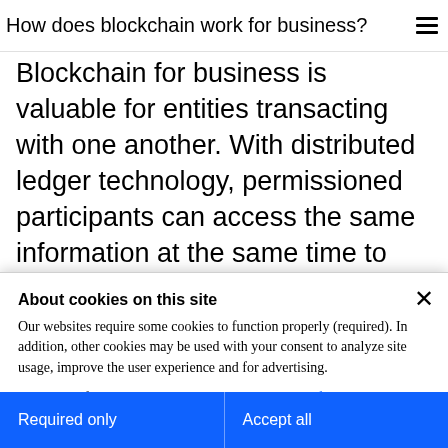How does blockchain work for business?
Blockchain for business is valuable for entities transacting with one another. With distributed ledger technology, permissioned participants can access the same information at the same time to improve efficiency, build trust and remove friction. Blockchain also allows a solution to rapidly size and scale, and many solutions can be adapted to perform multiple
About cookies on this site
Our websites require some cookies to function properly (required). In addition, other cookies may be used with your consent to analyze site usage, improve the user experience and for advertising.

For more information, please review your Cookie preferences options and IBM's privacy statement.